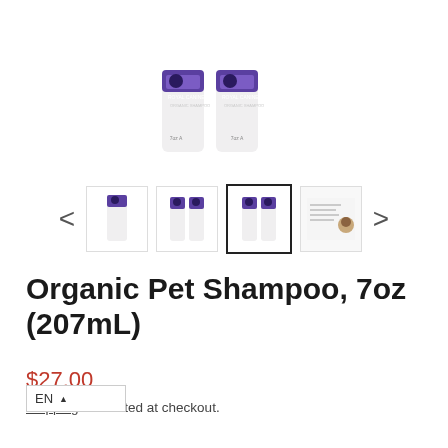[Figure (photo): Two white cylindrical bottles of Organic Pet Shampoo with purple labels, shown partially at top of page]
[Figure (screenshot): Thumbnail image carousel with left/right navigation arrows showing four product image thumbnails; the third thumbnail (two bottles) is selected with a black border]
Organic Pet Shampoo, 7oz (207mL)
$27.00
Shipping calculated at checkout.